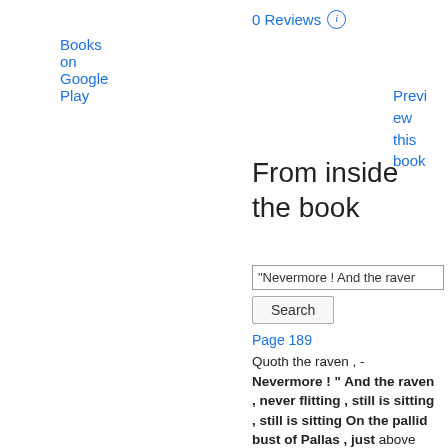Books on Google Play
0 Reviews ℹ
Preview this book
From inside the book
"Nevermore ! And the raven
Search
Page 189
Quoth the raven , - Nevermore ! " And the raven , never flitting , still is sitting , still is sitting On the pallid bust of Pallas , just above my chamber door ; And his eyes have all the seeming of a demon